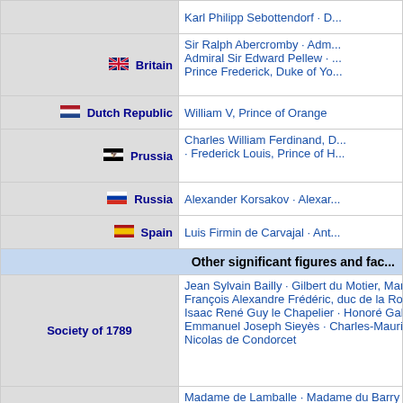| Country/Group | Figures |
| --- | --- |
|  | Karl Philipp Sebottendorf · D... |
| Britain | Sir Ralph Abercromby · Admiral Sir Edward Pellew · Prince Frederick, Duke of Yo... |
| Dutch Republic | William V, Prince of Orange |
| Prussia | Charles William Ferdinand, D... · Frederick Louis, Prince of H... |
| Russia | Alexander Korsakov · Alexar... |
| Spain | Luis Firmin de Carvajal · Ant... |
| Other significant figures and fac... |  |
| Society of 1789 | Jean Sylvain Bailly · Gilbert du Motier, Marquis de Lafa... François Alexandre Frédéric, duc de la Rochefoucauld-... Isaac René Guy le Chapelier · Honoré Gabriel Riqueti,... Emmanuel Joseph Sieyès · Charles-Maurice de Talleyr... Nicolas de Condorcet |
| Feuillants and monarchiens | Madame de Lamballe · Madame du Barry · Louis de Br... Charles Alexandre de Calonne · de Chateaubriand · Je... Arnaud de La Porte · Jean-Sifrein Maury · Jacques Nec... François-Marie, marquis de Barthélemy · Guillaume-Ma... Antoine Barnave · Lafayette · Alexandre-Théodore-Vict... Charles Malo François Lameth · André Chénier · Jean-... Camille Jordan · Madame de Staël · Boissy d'Anglas... |